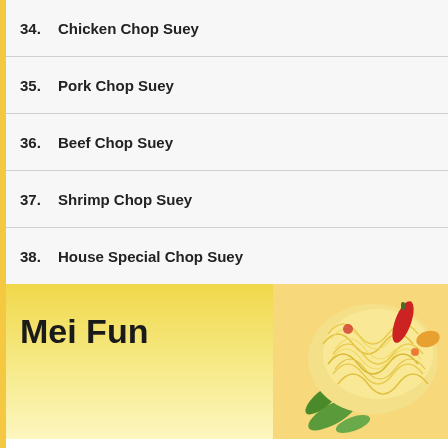34.  Chicken Chop Suey
35.  Pork Chop Suey
36.  Beef Chop Suey
37.  Shrimp Chop Suey
38.  House Special Chop Suey
Mei Fun
Thin Angel Hair Noodles
39.  Vegetable Mei Fun
40.  Pork or Chicken Mei Fun
41.  Shrimp or Beef Mei Fun
42.  House Special Mei Fun